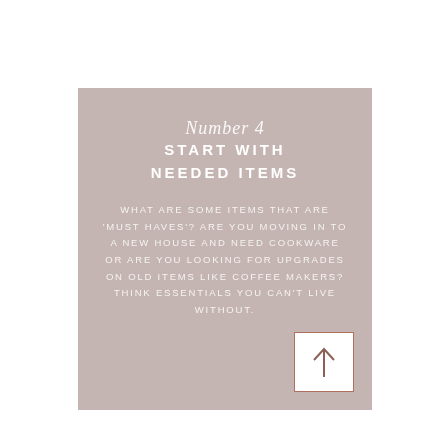Number 4
START WITH NEEDED ITEMS
WHAT ARE SOME ITEMS THAT ARE 'MUST HAVES'? ARE YOU MOVING IN TO A NEW HOUSE AND NEED COOKWARE OR ARE YOU LOOKING FOR UPGRADES ON OLD ITEMS LIKE COFFEE MAKERS? THINK ESSENTIALS YOU CAN'T LIVE WITHOUT.
[Figure (illustration): Upward arrow icon inside a white square with rose-colored border, positioned at bottom-right of card]